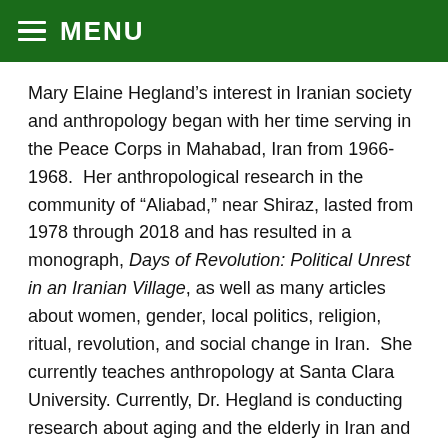MENU
Mary Elaine Hegland's interest in Iranian society and anthropology began with her time serving in the Peace Corps in Mahabad, Iran from 1966-1968.  Her anthropological research in the community of “Aliabad,” near Shiraz, lasted from 1978 through 2018 and has resulted in a monograph, Days of Revolution: Political Unrest in an Iranian Village, as well as many articles about women, gender, local politics, religion, ritual, revolution, and social change in Iran.  She currently teaches anthropology at Santa Clara University. Currently, Dr. Hegland is conducting research about aging and the elderly in Iran and among Iranian Americans in California’s San Francisco Bay Area. She also plans to study women and gender and family hierarchy and dynamics as related to aging and the elderly in Tajikistan.